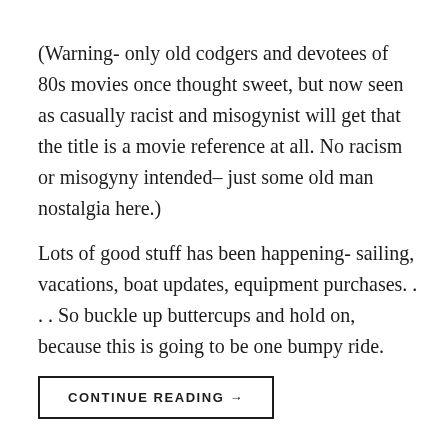(Warning- only old codgers and devotees of 80s movies once thought sweet, but now seen as casually racist and misogynist will get that the title is a movie reference at all. No racism or misogyny intended– just some old man nostalgia here.)
Lots of good stuff has been happening- sailing, vacations, boat updates, equipment purchases. . . . So buckle up buttercups and hold on, because this is going to be one bumpy ride.
CONTINUE READING →